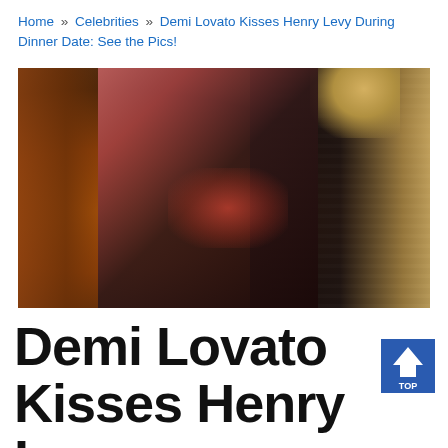Home » Celebrities » Demi Lovato Kisses Henry Levy During Dinner Date: See the Pics!
[Figure (photo): Photo of Demi Lovato kissing Henry Levy during a dinner date. Dark-haired woman kissing a blonde man in a dark jacket, with another figure visible on the left in an orange top, warm reddish light illuminating the kiss. Background shows window blinds.]
Demi Lovato Kisses Henry Levy During Dinner